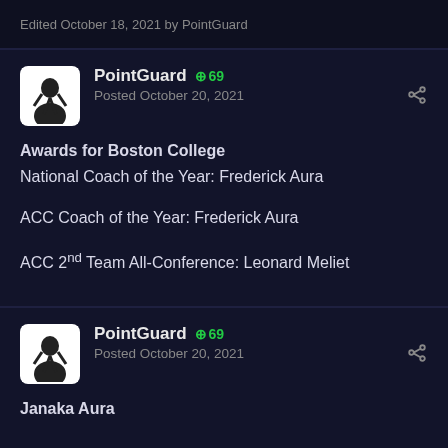Edited October 18, 2021 by PointGuard
PointGuard +69
Posted October 20, 2021
Awards for Boston College
National Coach of the Year: Frederick Aura
ACC Coach of the Year: Frederick Aura
ACC 2nd Team All-Conference: Leonard Meliet
PointGuard +69
Posted October 20, 2021
Janaka Aura